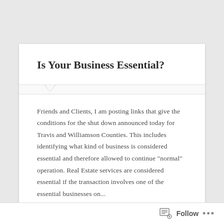Is Your Business Essential?
Friends and Clients, I am posting links that give the conditions for the shut down announced today for Travis and Williamson Counties. This includes identifying what kind of business is considered essential and therefore allowed to continue "normal" operation. Real Estate services are considered essential if the transaction involves one of the essential businesses on...
Continue Reading →